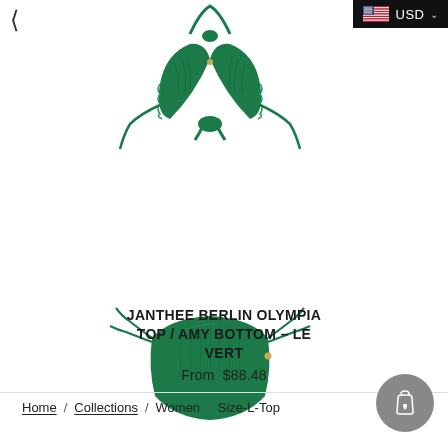USD
[Figure (photo): Green bikini top - Janthee Berlin Olympia Top, ruched halter style with ties, in dark green fabric]
[Figure (photo): Green bikini bottom - Janthee Berlin Amy Bottom, ruched string bikini style with side ties, in dark green fabric]
JANTHEE BERLIN OLYMPIA TOP / AMY BOTTOM – LE VERT
From  $88.48
Home / Collections / Women / Size-L-Top